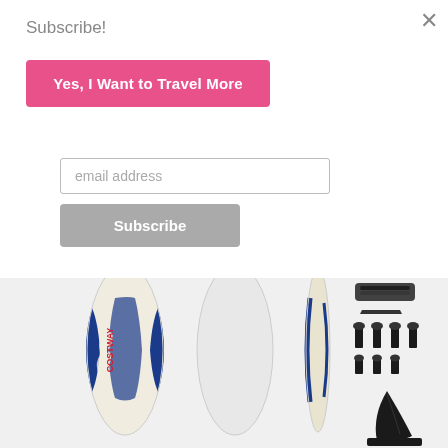Subscribe!
Yes, I Want to Travel More
email address
Subscribe
[Figure (photo): Product photo showing a surfboard (COSTWAY branded) from front, back, and side views, along with accessories including bolts, screws, a fin, a leash, and a small tool, displayed against a white background.]